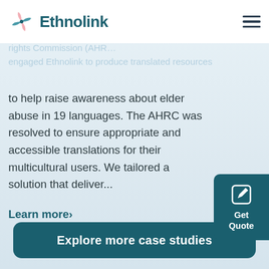Commission
[Figure (logo): Ethnolink logo with pinwheel/flower icon in teal and pink, and bold teal text 'Ethnolink']
rights Commission (AHRC) engaged Ethnolink to produce translated resources to help raise awareness about elder abuse in 19 languages. The AHRC was resolved to ensure appropriate and accessible translations for their multicultural users. We tailored a solution that deliver...
Learn more›
[Figure (other): Get Quote button — dark teal rounded rectangle with edit/pencil icon and text 'Get Quote']
Explore more case studies